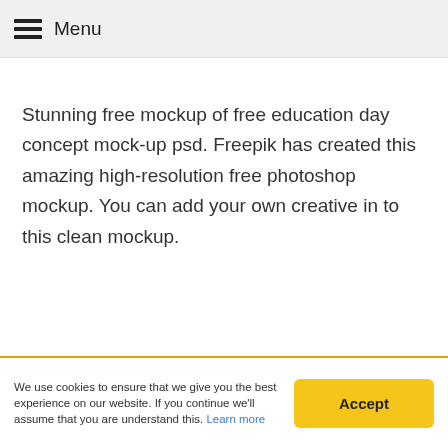Menu
Stunning free mockup of free education day concept mock-up psd. Freepik has created this amazing high-resolution free photoshop mockup. You can add your own creative in to this clean mockup.
Collections: All Freebies
We use cookies to ensure that we give you the best experience on our website. If you continue we'll assume that you are understand this. Learn more